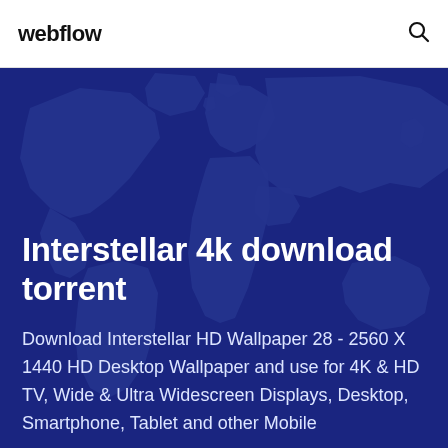webflow
Interstellar 4k download torrent
Download Interstellar HD Wallpaper 28 - 2560 X 1440 HD Desktop Wallpaper and use for 4K & HD TV, Wide & Ultra Widescreen Displays, Desktop, Smartphone, Tablet and other Mobile
[Figure (illustration): Dark blue world map illustration used as hero background, showing continents in a lighter blue tone against a deep navy/blue background.]